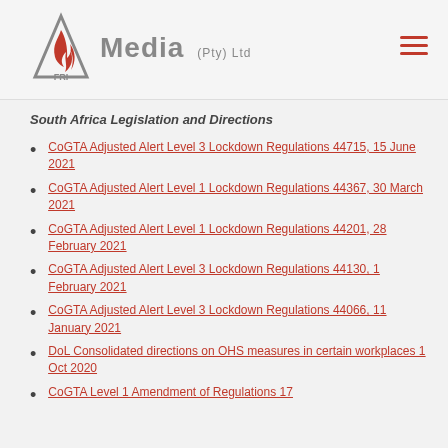FRI Media (Pty) Ltd
South Africa Legislation and Directions
CoGTA Adjusted Alert Level 3 Lockdown Regulations 44715, 15 June 2021
CoGTA Adjusted Alert Level 1 Lockdown Regulations 44367, 30 March 2021
CoGTA Adjusted Alert Level 1 Lockdown Regulations 44201, 28 February 2021
CoGTA Adjusted Alert Level 3 Lockdown Regulations 44130, 1 February 2021
CoGTA Adjusted Alert Level 3 Lockdown Regulations 44066, 11 January 2021
DoL Consolidated directions on OHS measures in certain workplaces 1 Oct 2020
CoGTA Level 1 Amendment of Regulations 17